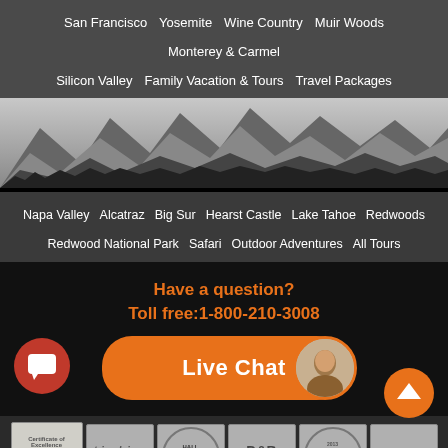San Francisco | Yosemite | Wine Country | Muir Woods | Monterey & Carmel | Silicon Valley | Family Vacation & Tours | Travel Packages
[Figure (illustration): Black and white mountain skyline panorama banner with silhouettes of mountains, trees, and landmarks]
Napa Valley | Alcatraz | Big Sur | Hearst Castle | Lake Tahoe | Redwoods | Redwood National Park | Safari | Outdoor Adventures | All Tours
Have a question?
Toll free:1-800-210-3008
[Figure (other): Live Chat button with orange background and woman avatar photo]
[Figure (other): Row of award badges: Certificate of Excellence, TripAdvisor, Hall of Fame TripAdvisor, D&B Verified, Hall of Fame TripAdvisor 2013, 100% Guaranteed]
Home | About Us | Contact Us | Quote Request | Travel Agent | Reviews | FAQs | Sitemap | Blog